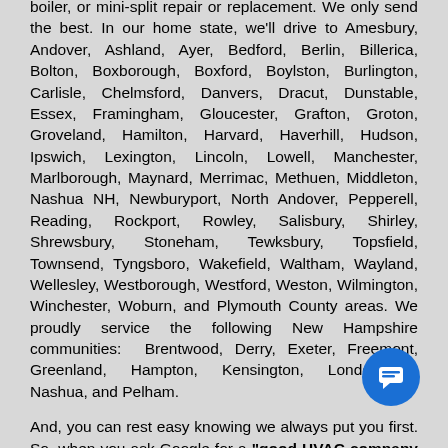boiler, or mini-split repair or replacement. We only send the best. In our home state, we'll drive to Amesbury, Andover, Ashland, Ayer, Bedford, Berlin, Billerica, Bolton, Boxborough, Boxford, Boylston, Burlington, Carlisle, Chelmsford, Danvers, Dracut, Dunstable, Essex, Framingham, Gloucester, Grafton, Groton, Groveland, Hamilton, Harvard, Haverhill, Hudson, Ipswich, Lexington, Lincoln, Lowell, Manchester, Marlborough, Maynard, Merrimac, Methuen, Middleton, Nashua NH, Newburyport, North Andover, Pepperell, Reading, Rockport, Rowley, Salisbury, Shirley, Shrewsbury, Stoneham, Tewksbury, Topsfield, Townsend, Tyngsboro, Wakefield, Waltham, Wayland, Wellesley, Westborough, Westford, Weston, Wilmington, Winchester, Woburn, and Plymouth County areas. We proudly service the following New Hampshire communities: Brentwood, Derry, Exeter, Freemont, Greenland, Hampton, Kensington, Londonderry, Nashua, and Pelham.
And, you can rest easy knowing we always put you first. So, when you ask Google for a "good HVAC company near me" you know you've come to the right place. To get a quote on your ac or heat pump repair, call (   )-1-4403. Frank's Heating Service services all furnace, AC brands including Carrier, Trane, Armstong, Bryant, Coleman, Goodman, Lennox, Tempstar, Emerson,